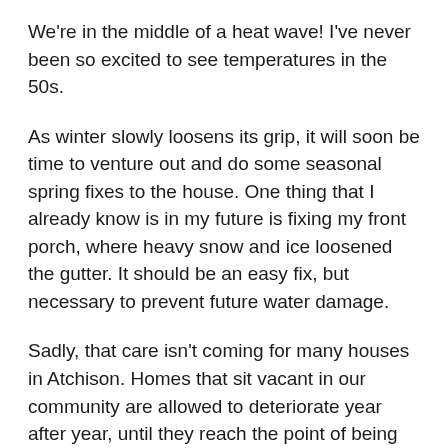We're in the middle of a heat wave! I've never been so excited to see temperatures in the 50s.
As winter slowly loosens its grip, it will soon be time to venture out and do some seasonal spring fixes to the house. One thing that I already know is in my future is fixing my front porch, where heavy snow and ice loosened the gutter. It should be an easy fix, but necessary to prevent future water damage.
Sadly, that care isn't coming for many houses in Atchison. Homes that sit vacant in our community are allowed to deteriorate year after year, until they reach the point of being so unsafe that the city has to tear them down.
Most of the time, we have to do this at the taxpayer's expense. Each year the City of Atchison tears down 10 or